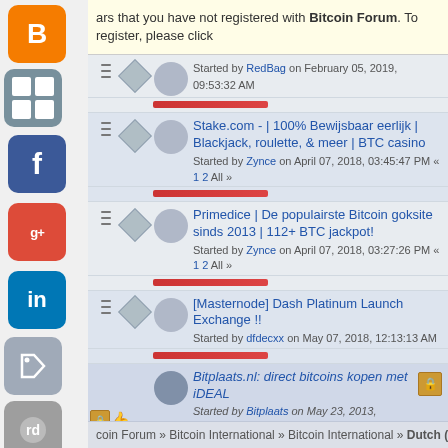ars that you have not registered with Bitcoin Forum. To register, please click
Started by RedBag on February 05, 2019, 09:53:32 AM
Stake.com - | 100% Bewijsbaar eerlijk | Blackjack, roulette, & meer | BTC casino
Started by Zynce on April 07, 2018, 03:45:47 PM « 1 2 All »
Primedice | De populairste Bitcoin goksite sinds 2013 | 112+ BTC jackpot!
Started by Zynce on April 07, 2018, 03:27:26 PM « 1 2 All »
[Masternode] Dash Platinum Launch Exchange !!
Started by dfdecxx on May 07, 2018, 12:13:13 AM
Bitplaats.nl: direct bitcoins kopen met iDEAL
Started by Bitplaats on May 23, 2013, 12:44:03 PM
ges: [1]  Go Up
coin Forum » Bitcoin International » Bitcoin International » Dutch (Nederlands)